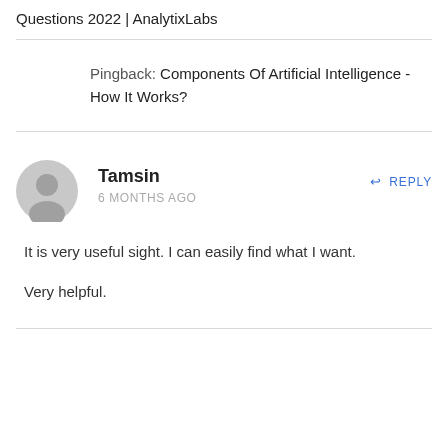Questions 2022 | AnalytixLabs
Pingback: Components Of Artificial Intelligence - How It Works?
Tamsin
6 MONTHS AGO
It is very useful sight. I can easily find what I want.

Very helpful.